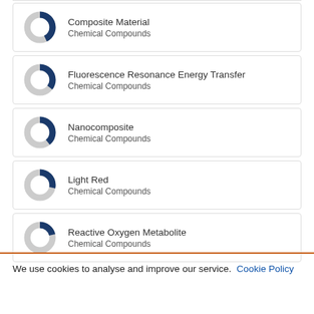Composite Material
Chemical Compounds
Fluorescence Resonance Energy Transfer
Chemical Compounds
Nanocomposite
Chemical Compounds
Light Red
Chemical Compounds
Reactive Oxygen Metabolite
Chemical Compounds
We use cookies to analyse and improve our service. Cookie Policy